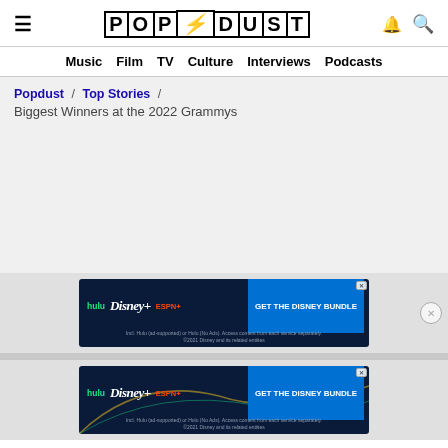POPDUST
Music / Film / TV / Culture / Interviews / Podcasts
Popdust / Top Stories / Biggest Winners at the 2022 Grammys
[Figure (screenshot): Disney Bundle advertisement banner with Hulu, Disney+, ESPN+ logos and 'GET THE DISNEY BUNDLE' call to action button. Fine print: Incl. Hulu (ad-supported) or Hulu (No Ads). Access content from each service separately. ©2021 Disney and its related entities]
[Figure (screenshot): Second Disney Bundle advertisement banner identical to the first, with Hulu, Disney+, ESPN+ logos and 'GET THE DISNEY BUNDLE' call to action button. Fine print: Incl. Hulu (ad-supported) or Hulu (No Ads). Access content from each service separately. ©2021 Disney and its related entities]